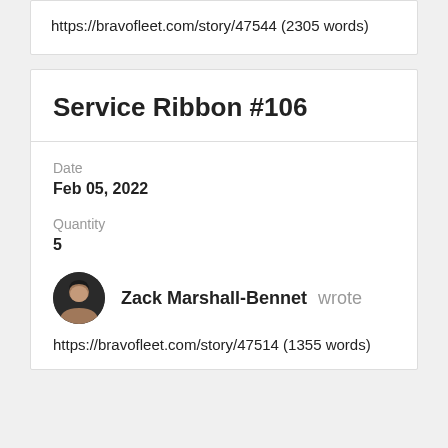https://bravofleet.com/story/47544 (2305 words)
Service Ribbon #106
Date
Feb 05, 2022
Quantity
5
Zack Marshall-Bennet wrote
https://bravofleet.com/story/47514 (1355 words)